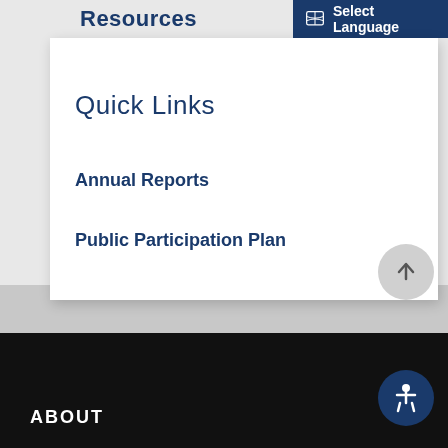Resources
Select Language
Quick Links
Annual Reports
Public Participation Plan
ABOUT